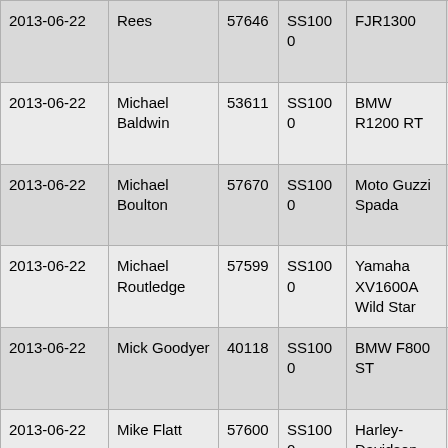| Date | Name | ID | Category | Bike | Event |
| --- | --- | --- | --- | --- | --- |
| 2013-06-22 | Rees | 57646 | SS1000 | FJR1300 | RBLR 1000 ('13) |
| 2013-06-22 | Michael Baldwin | 53611 | SS1000 | BMW R1200 RT | RBLR 1000 ('13) |
| 2013-06-22 | Michael Boulton | 57670 | SS1000 | Moto Guzzi Spada | RBLR 1000 ('13) |
| 2013-06-22 | Michael Routledge | 57599 | SS1000 | Yamaha XV1600A Wild Star | RBLR 1000 ('13) |
| 2013-06-22 | Mick Goodyer | 40118 | SS1000 | BMW F800 ST | RBLR 1000 ('13) |
| 2013-06-22 | Mike Flatt | 57600 | SS1000 | Harley-Davidson Fat Bob | RBLR 1000 ('13) |
| 2013-06-22 | Mike Strong | 53018 | SS1000 | Yamaha Diversion 900 | RBLR 1000 ('13) |
| 2013-06-22 | Neil Brock | 57601 | SS1000 | BMW F800 GS | RBLR 1000 ('13) |